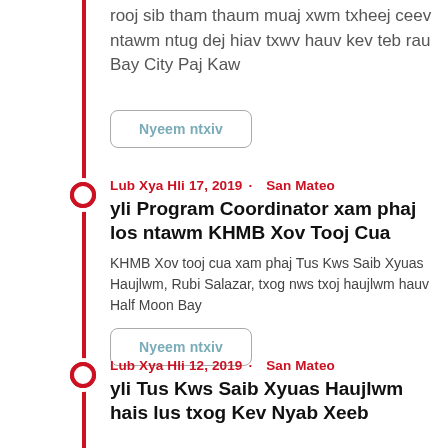rooj sib tham thaum muaj xwm txheej ceev ntawm ntug dej hiav txwv hauv kev teb rau Bay City Paj Kaw
Nyeem ntxiv
Lub Xya Hli 17, 2019 · San Mateo
yli Program Coordinator xam phaj los ntawm KHMB Xov Tooj Cua
KHMB Xov tooj cua xam phaj Tus Kws Saib Xyuas Haujlwm, Rubi Salazar, txog nws txoj haujlwm hauv Half Moon Bay
Nyeem ntxiv
Lub Xya Hli 12, 2019 · San Mateo
yli Tus Kws Saib Xyuas Haujlwm hais lus txog Kev Nyab Xeeb